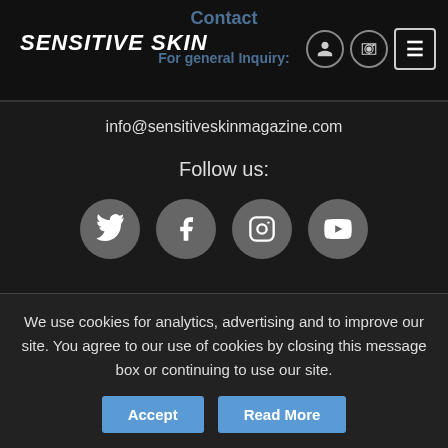Sensitive Skin
Contact
For general Inquiry:
info@sensitiveskinmagazine.com
Follow us:
[Figure (illustration): Four social media icons in grey circles: Twitter, Facebook, Instagram, YouTube]
Home | About | Submissions
Print Issues | Peau Sensible | Books |
Purchase History | Privacy Policy
Copyright © 2022 Sensitive Skin Magazine.
We use cookies for analytics, advertising and to improve our site. You agree to our use of cookies by closing this message box or continuing to use our site.